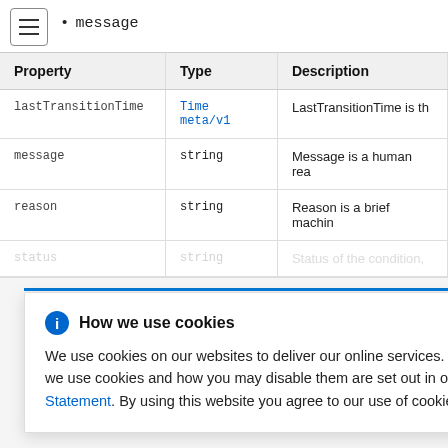message
| Property | Type | Description |
| --- | --- | --- |
| lastTransitionTime | Time meta/v1 | LastTransitionTime is th |
| message | string | Message is a human rea |
| reason | string | Reason is a brief machin |
| status | string | Status of the condition, |
How we use cookies
We use cookies on our websites to deliver our online services. Details about how we use cookies and how you may disable them are set out in our Privacy Statement. By using this website you agree to our use of cookies.